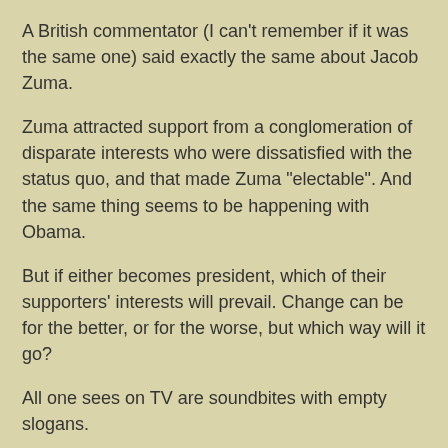A British commentator (I can't remember if it was the same one) said exactly the same about Jacob Zuma.
Zuma attracted support from a conglomeration of disparate interests who were dissatisfied with the status quo, and that made Zuma "electable". And the same thing seems to be happening with Obama.
But if either becomes president, which of their supporters' interests will prevail. Change can be for the better, or for the worse, but which way will it go?
All one sees on TV are soundbites with empty slogans.
Cosatu supported Jacob Zuma, but will Jacob Zuma support Cosatu?
Hat-tip to Small Dead Animals.
Steve Hayes at 07:52    6 comments:
Share